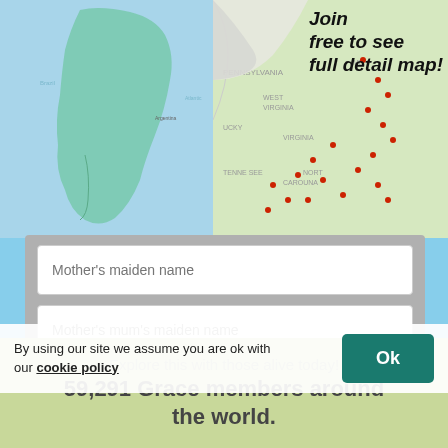[Figure (map): World map showing South America region in light blue/teal, with green highlighted areas. Top-left portion of the page.]
[Figure (map): US East coast map with red dots marking locations, partially revealed by a page curl effect. Top-right of page. Curl text reads: 'Join free to see full detail map!']
Mother's maiden name
Mother's mum's maiden name
Father's mum's maiden name
Add my surnames
By using our site we assume you are ok with our cookie policy
Ok
Explore this with those alive today!
59,291 Grace members around the world.